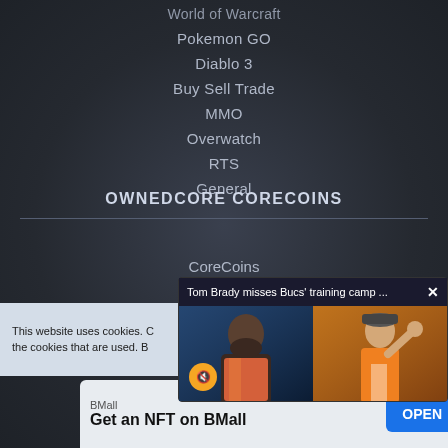World of Warcraft
Pokemon GO
Diablo 3
Buy Sell Trade
MMO
Overwatch
RTS
General
OWNEDCORE CORECOINS
CoreCoins
[Figure (screenshot): News popup overlay showing 'Tom Brady misses Bucs' training camp ...' with two images side by side — a man with beard on the left and Tom Brady on the right in an orange shirt]
This website uses cookies. C... the cookies that are used. B...
[Figure (infographic): BMall advertisement banner: 'Get an NFT on BMall' with an OPEN button]